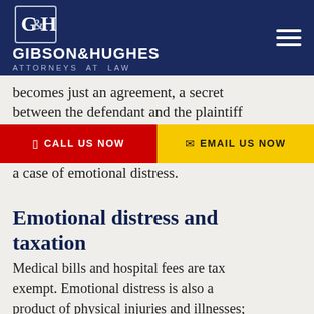[Figure (logo): Gibson & Hughes Attorneys at Law logo with G&H badge on dark navy header with hamburger menu icon]
becomes just an agreement, a secret between the defendant and the plaintiff...
CALL US NOW  |  EMAIL US NOW
a case of emotional distress.
Emotional distress and taxation
Medical bills and hospital fees are tax exempt. Emotional distress is also a product of physical injuries and illnesses; it is a psychological pain derived from physical injuries. This other type of pain is